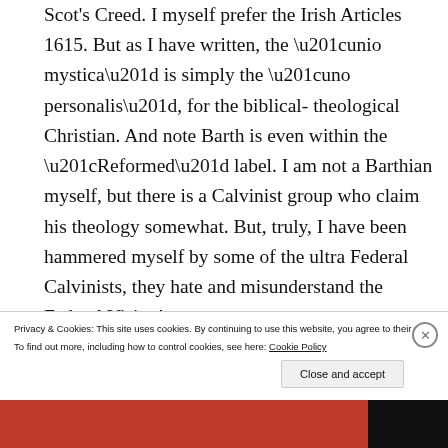Scot's Creed. I myself prefer the Irish Articles 1615. But as I have written, the “unio mystica” is simply the “uno personalis”, for the biblical-theological Christian. And note Barth is even within the “Reformed” label. I am not a Barthian myself, but there is a Calvinist group who claim his theology somewhat. But, truly, I have been hammered myself by some of the ultra Federal Calvinists, they hate and misunderstand the Federal Vision!
Privacy & Cookies: This site uses cookies. By continuing to use this website, you agree to their use.
To find out more, including how to control cookies, see here: Cookie Policy